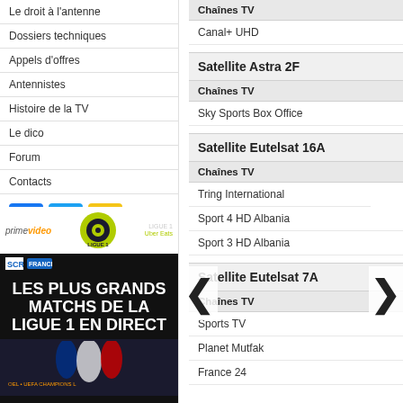Le droit à l'antenne
Dossiers techniques
Appels d'offres
Antennistes
Histoire de la TV
Le dico
Forum
Contacts
[Figure (infographic): Social media icons: Facebook, Twitter, Email]
[Figure (photo): Amazon Prime Video / Ligue 1 Uber Eats ad - LES PLUS GRANDS MATCHS DE LA LIGUE 1 EN DIRECT with football players]
Chaînes TV
Canal+ UHD
Satellite Astra 2F
Chaînes TV
Sky Sports Box Office
Satellite Eutelsat 16A
Chaînes TV
Tring International
Sport 4 HD Albania
Sport 3 HD Albania
Satellite Eutelsat 7A
Chaînes TV
Sports TV
Planet Mutfak
France 24